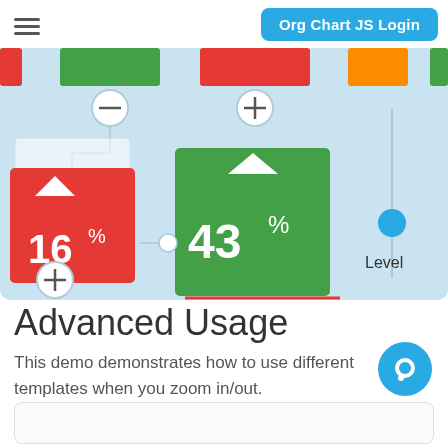Org Chart JS Login
[Figure (screenshot): Org chart demo screenshot showing colored node cards with percentages: a red card showing 16% with down arrow, a green card showing 43% with up arrow, colored header bars (red, green, orange), expand/collapse circle buttons, connector lines, and a Level slider on the right side. Background is light blue.]
Advanced Usage
This demo demonstrates how to use different templates when you zoom in/out.